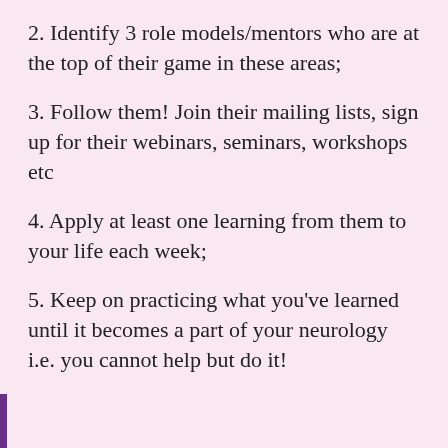2. Identify 3 role models/mentors who are at the top of their game in these areas;
3. Follow them! Join their mailing lists, sign up for their webinars, seminars, workshops etc
4. Apply at least one learning from them to your life each week;
5. Keep on practicing what you’ve learned until it becomes a part of your neurology i.e. you cannot help but do it!
Advertisements
[Figure (screenshot): Partial advertisement showing the word 'Professionally' in large serif font on a cream background, with a close (X) button.]
Advertisements
[Figure (screenshot): DuckDuckGo banner ad: orange-red left panel reading 'Search, browse, and email with more privacy. All in One Free App'; dark right panel with DuckDuckGo duck logo and name.]